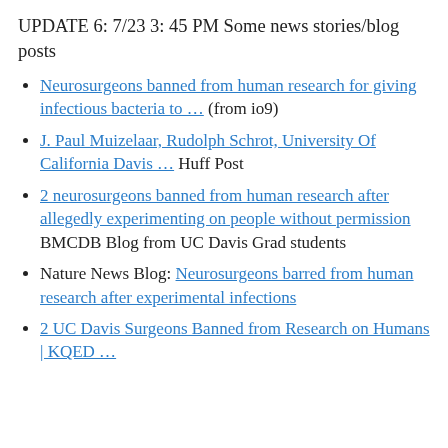UPDATE 6: 7/23 3: 45 PM Some news stories/blog posts
Neurosurgeons banned from human research for giving infectious bacteria to … (from io9)
J. Paul Muizelaar, Rudolph Schrot, University Of California Davis … Huff Post
2 neurosurgeons banned from human research after allegedly experimenting on people without permission BMCDB Blog from UC Davis Grad students
Nature News Blog: Neurosurgeons barred from human research after experimental infections
2 UC Davis Surgeons Banned from Research on Humans | KQED …